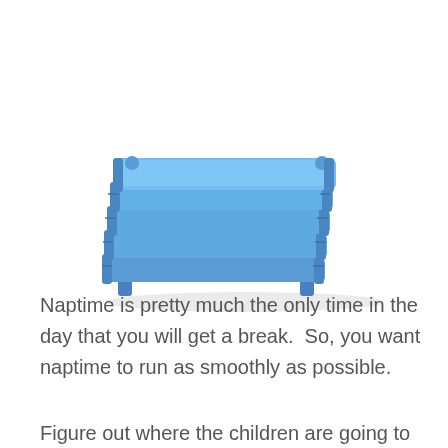[Figure (photo): A stack of blue stackable children's nap cots/mats with blue plastic frames and legs, stacked five high, viewed at a slight angle.]
Naptime is pretty much the only time in the day that you will get a break.  So, you want naptime to run as smoothly as possible.
Figure out where the children are going to